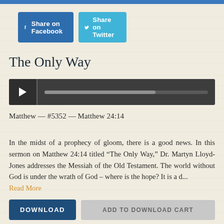[Figure (other): Social media share buttons: Share on Facebook (blue) and Share on Twitter (light blue)]
The Only Way
[Figure (other): Audio player with play button and progress bar]
Matthew — #5352 — Matthew 24:14
In the midst of a prophecy of gloom, there is a good news. In this sermon on Matthew 24:14 titled “The Only Way,” Dr. Martyn Lloyd-Jones addresses the Messiah of the Old Testament. The world without God is under the wrath of God – where is the hope? It is a d... Read More
[Figure (other): Download and Add to Download Cart buttons]